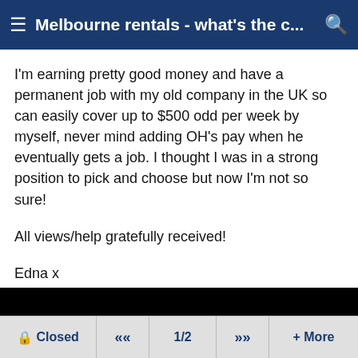Melbourne rentals - what's the c...
I'm earning pretty good money and have a permanent job with my old company in the UK so can easily cover up to $500 odd per week by myself, never mind adding OH's pay when he eventually gets a job. I thought I was in a strong position to pick and choose but now I'm not so sure!

All views/help gratefully received!

Edna x
[Figure (photo): Black rectangle area, likely a video or image placeholder]
Closed  «  1/2  »  + More